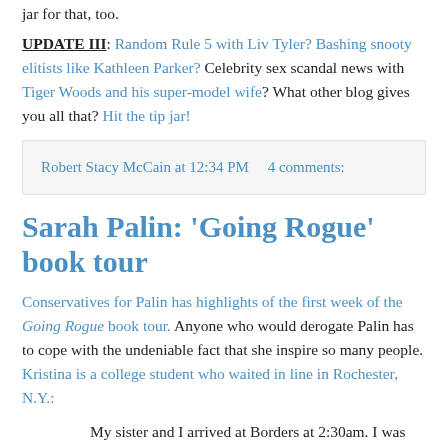jar for that, too.
UPDATE III: Random Rule 5 with Liv Tyler? Bashing snooty elitists like Kathleen Parker? Celebrity sex scandal news with Tiger Woods and his super-model wife? What other blog gives you all that? Hit the tip jar!
Robert Stacy McCain at 12:34 PM    4 comments:
Sarah Palin: 'Going Rogue' book tour
Conservatives for Palin has highlights of the first week of the Going Rogue book tour. Anyone who would derogate Palin has to cope with the undeniable fact that she inspire so many people. Kristina is a college student who waited in line in Rochester, N.Y.:
My sister and I arrived at Borders at 2:30am. I was shocked to see so many people lined up this early to see Sarah! So we quickly scoped out a parking spot, parked, and then headed to the